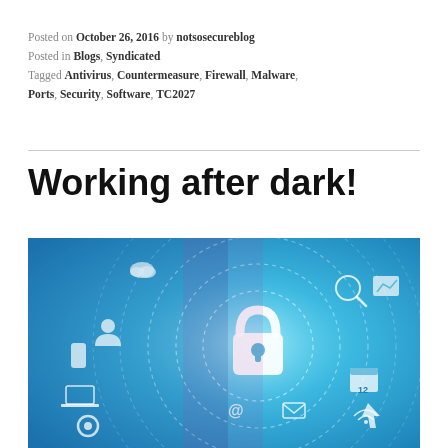Posted on October 26, 2016 by notsosecureblog
Posted in Blogs, Syndicated
Tagged Antivirus, Countermeasure, Firewall, Malware, Ports, Security, Software, TC2027
Working after dark!
[Figure (photo): Cybersecurity themed image showing a person in a suit interacting with a glowing digital lock surrounded by internet/technology icons on a blue-toned background with concentric dotted circles.]